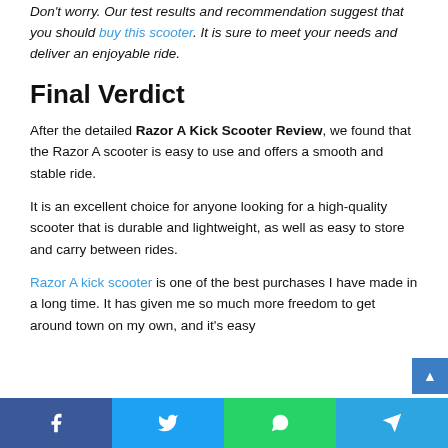Don't worry. Our test results and recommendation suggest that you should buy this scooter. It is sure to meet your needs and deliver an enjoyable ride.
Final Verdict
After the detailed Razor A Kick Scooter Review, we found that the Razor A scooter is easy to use and offers a smooth and stable ride.
It is an excellent choice for anyone looking for a high-quality scooter that is durable and lightweight, as well as easy to store and carry between rides.
Razor A kick scooter is one of the best purchases I have made in a long time. It has given me so much more freedom to get around town on my own, and it's easy
Facebook Twitter WhatsApp Telegram